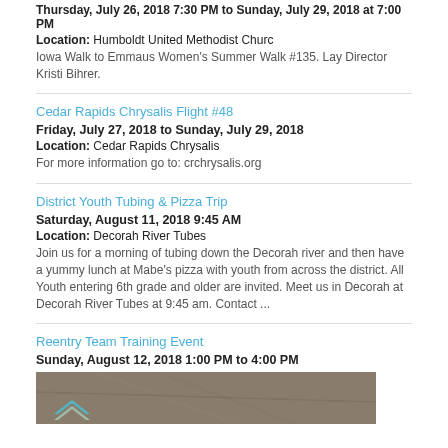Thursday, July 26, 2018 7:30 PM to Sunday, July 29, 2018 at 7:00 PM
Location: Humboldt United Methodist Churc
Iowa Walk to Emmaus Women’s Summer Walk #135. Lay Director Kristi Bihrer.
Cedar Rapids Chrysalis Flight #48
Friday, July 27, 2018 to Sunday, July 29, 2018
Location: Cedar Rapids Chrysalis
For more information go to: crchrysalis.org
District Youth Tubing & Pizza Trip
Saturday, August 11, 2018 9:45 AM
Location: Decorah River Tubes
Join us for a morning of tubing down the Decorah river and then have a yummy lunch at Mabe’s pizza with youth from across the district. All Youth entering 6th grade and older are invited. Meet us in Decorah at Decorah River Tubes at 9:45 am. Contact ...
Reentry Team Training Event
Sunday, August 12, 2018 1:00 PM to 4:00 PM
[Figure (photo): Photo showing a chevron/arrow shape on a textured background, partial view of a Reentry Team Training Event image]